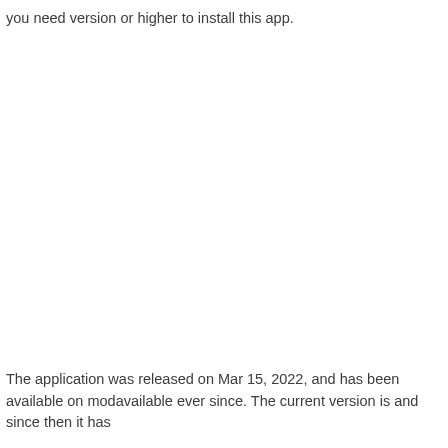you need version or higher to install this app.
The application was released on Mar 15, 2022, and has been available on modavailable ever since. The current version is and since then it has